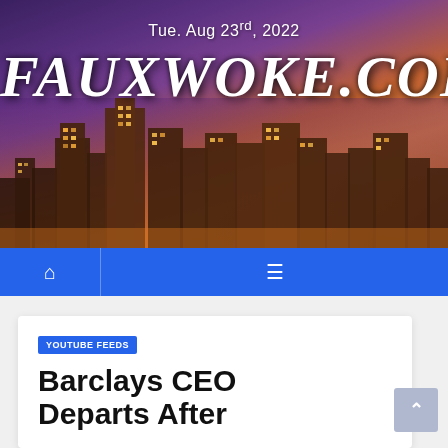[Figure (photo): City skyline header image with purple/orange sky and illuminated skyscrapers at night]
Tue. Aug 23rd, 2022
FAUXWOKE.COM
Home / Menu navigation bar
YOUTUBE FEEDS
Barclays CEO Departs After